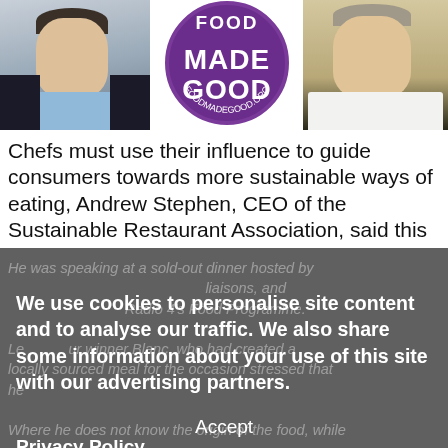[Figure (photo): Three images in a row: left – headshot of a man in a dark jacket and blue shirt; center – Food Made Good circular purple logo with text FOODMADEGOOD.ORG; right – photo of a chef in white coat standing outdoors]
Chefs must use their influence to guide consumers towards more sustainable ways of eating, Andrew Stephen, CEO of the Sustainable Restaurant Association, said this week.
He was speaking at a sold-out dinner hosted by [obscured] liaisons, and [obscured] Radio 4's Food Programme.
We use cookies to personalise site content and to analyse our traffic. We also share some information about your use of this site with our advertising partners.
Privacy Policy
Accept
Le[obscured] ur winner Blanc, who had created a locally sourced meal for the occasion stressed that he[obscured]
Where he does not know the origin of the food, while